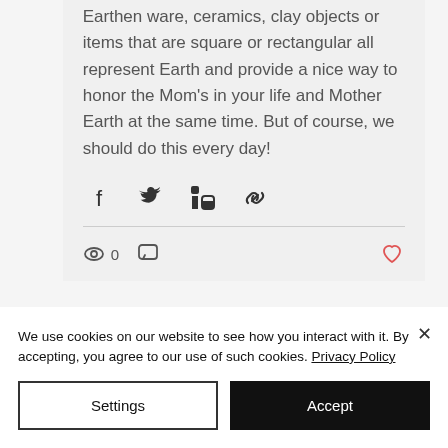Earthen ware, ceramics, clay objects or items that are square or rectangular all represent Earth and provide a nice way to honor the Mom's in your life and Mother Earth at the same time. But of course, we should do this every day!
[Figure (other): Social share buttons: Facebook, Twitter, LinkedIn, and link/chain icon]
0 views, 0 comments, post not liked
We use cookies on our website to see how you interact with it. By accepting, you agree to our use of such cookies. Privacy Policy